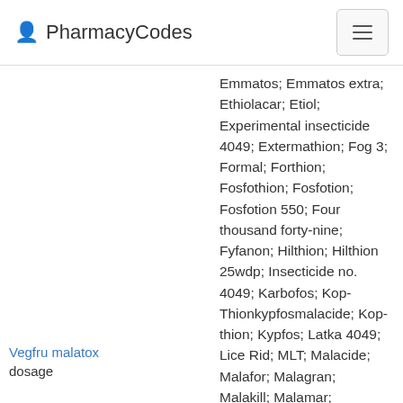PharmacyCodes
Emmatos; Emmatos extra; Ethiolacar; Etiol; Experimental insecticide 4049; Extermathion; Fog 3; Formal; Forthion; Fosfothion; Fosfotion; Fosfotion 550; Four thousand forty-nine; Fyfanon; Hilthion; Hilthion 25wdp; Insecticide no. 4049; Karbofos; Kop-Thionkypfosmalacide; Kop-thion; Kypfos; Latka 4049; Lice Rid; MLT; Malacide; Malafor; Malagran; Malakill; Malamar; Malamar 50; Malaphele; Malaphos; Malasol; Malaspray; Malathion 60; Malathion E50; Malathion LV Concentrate; Malathione; Malathiozoo; Malathon; Malation; Malatol; Malatox; Maldison; Malmed;
Vegfru malatox
dosage